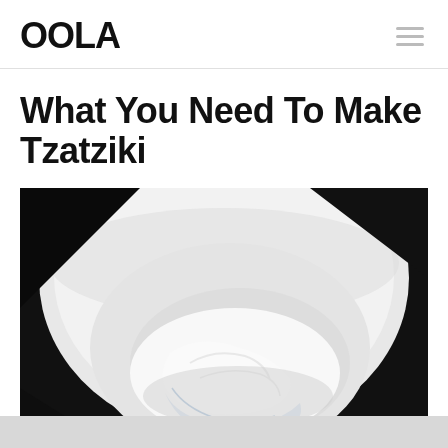OOLA
What You Need To Make Tzatziki
[Figure (photo): A white ceramic bowl with a portion of strained Greek yogurt being placed into it using a transparent plastic bag, photographed from above against a dark background.]